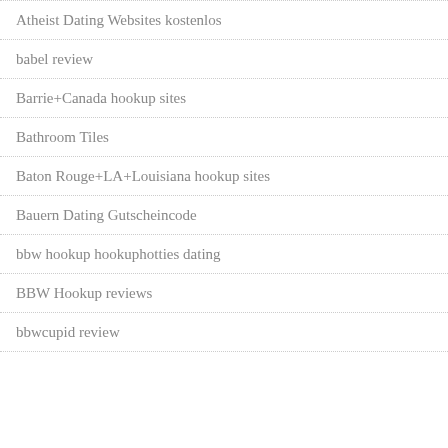Atheist Dating Websites kostenlos
babel review
Barrie+Canada hookup sites
Bathroom Tiles
Baton Rouge+LA+Louisiana hookup sites
Bauern Dating Gutscheincode
bbw hookup hookuphotties dating
BBW Hookup reviews
bbwcupid review